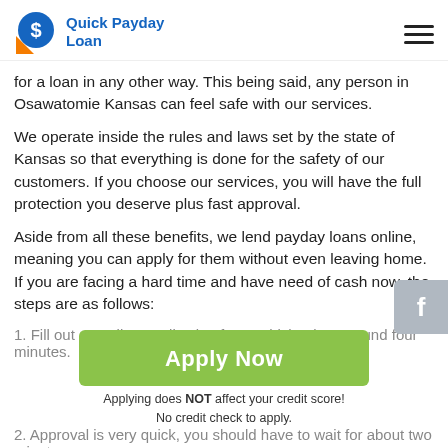Quick Payday Loan
for a loan in any other way. This being said, any person in Osawatomie Kansas can feel safe with our services.
We operate inside the rules and laws set by the state of Kansas so that everything is done for the safety of our customers. If you choose our services, you will have the full protection you deserve plus fast approval.
Aside from all these benefits, we lend payday loans online, meaning you can apply for them without even leaving home. If you are facing a hard time and have need of cash now, the steps are as follows:
1. Fill out an online application form, which takes around four minutes.
2. Approval is very quick, you should have to wait for about two minutes.
3. Sign the documents of the loan.
[Figure (other): Green Apply Now button with subtext: Applying does NOT affect your credit score! No credit check to apply.]